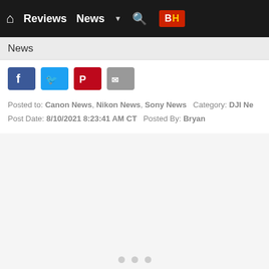Reviews  News  B&H
News
[Figure (other): Social sharing icons: Facebook, Twitter, Pinterest, Email]
Posted to: Canon News, Nikon News, Sony News   Category: DJI Ne...
Post Date: 8/10/2021 8:23:41 AM CT   Posted By: Bryan
Monday, August 9, 2021
[Figure (other): Image carousel area, empty/loading, with three dot indicators at bottom]